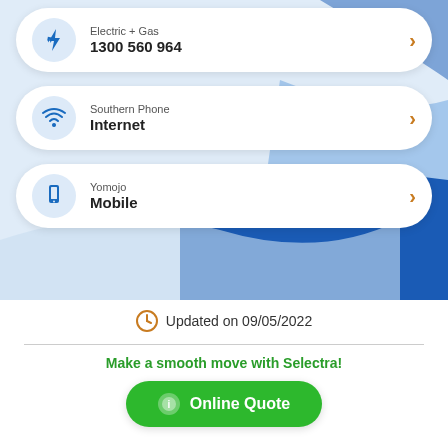Electric + Gas — 1300 560 964
Southern Phone — Internet
Yomojo — Mobile
Updated on 09/05/2022
Make a smooth move with Selectra!
Online Quote